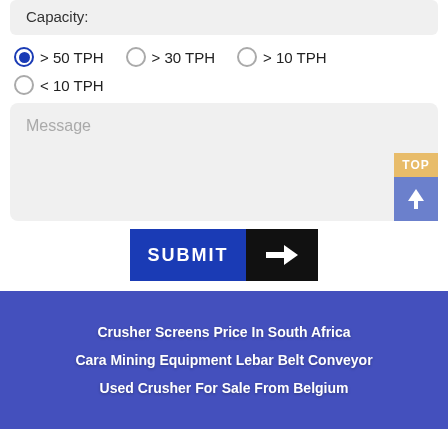Capacity:
> 50 TPH (selected)
> 30 TPH
> 10 TPH
< 10 TPH
Message
SUBMIT
Crusher Screens Price In South Africa
Cara Mining Equipment Lebar Belt Conveyor
Used Crusher For Sale From Belgium